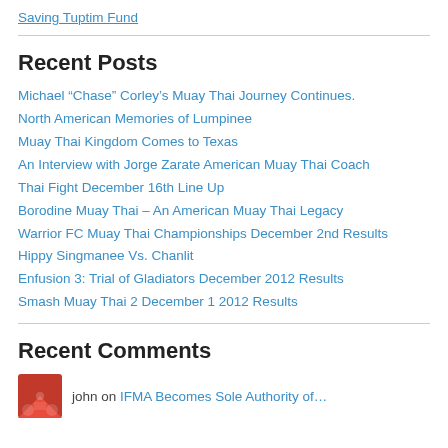Saving Tuptim Fund
Recent Posts
Michael “Chase” Corley’s Muay Thai Journey Continues.
North American Memories of Lumpinee
Muay Thai Kingdom Comes to Texas
An Interview with Jorge Zarate American Muay Thai Coach
Thai Fight December 16th Line Up
Borodine Muay Thai – An American Muay Thai Legacy
Warrior FC Muay Thai Championships December 2nd Results
Hippy Singmanee Vs. Chanlit
Enfusion 3: Trial of Gladiators December 2012 Results
Smash Muay Thai 2 December 1 2012 Results
Recent Comments
john on IFMA Becomes Sole Authority of…